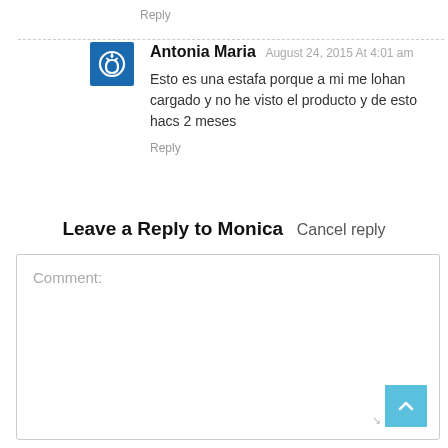Reply
Antonia Maria August 24, 2015 At 4:01 am
Esto es una estafa porque a mi me lohan cargado y no he visto el producto y de esto hacs 2 meses
Reply
Leave a Reply to Monica  Cancel reply
Comment: